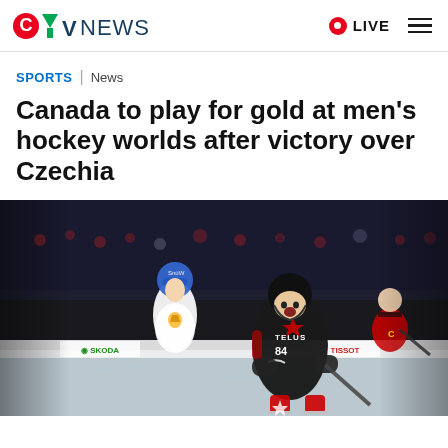CTV News | LIVE
SPORTS | News
Canada to play for gold at men's hockey worlds after victory over Czechia
[Figure (photo): Hockey players on ice during a game, Canadian player in black jersey with TELUS sponsor celebrating, Czech player in white jersey with blue helmet in background, arena crowd visible, TISSOT and SKODA advertising boards visible rinkside]